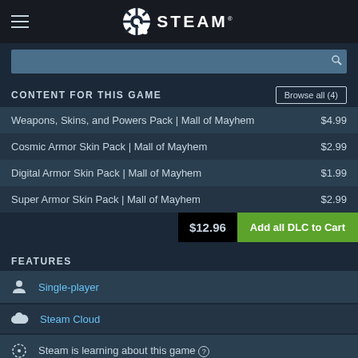[Figure (logo): Steam logo with hamburger menu icon on dark header bar]
[Figure (screenshot): Gray search bar input area]
CONTENT FOR THIS GAME
| Name | Price |
| --- | --- |
| Weapons, Skins, and Powers Pack | Mall of Mayhem | $4.99 |
| Cosmic Armor Skin Pack | Mall of Mayhem | $2.99 |
| Digital Armor Skin Pack | Mall of Mayhem | $1.99 |
| Super Armor Skin Pack | Mall of Mayhem | $2.99 |
$12.96  Add all DLC to Cart
FEATURES
Single-player
Steam Cloud
Steam is learning about this game